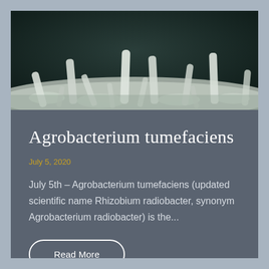[Figure (photo): Scanning electron microscope (SEM) image of Agrobacterium tumefaciens bacteria on a surface. Multiple rod-shaped bacterial cells are visible standing upright and at angles on a pale, textured substrate against a dark background.]
Agrobacterium tumefaciens
July 5, 2020
July 5th – Agrobacterium tumefaciens (updated scientific name Rhizobium radiobacter, synonym Agrobacterium radiobacter) is the...
Read More